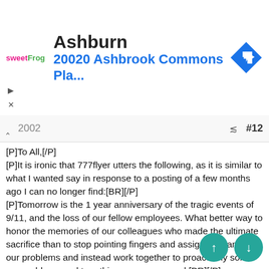[Figure (screenshot): Advertisement banner for sweetFrog showing Ashburn location at 20020 Ashbrook Commons Pla... with a blue navigation arrow diamond icon on the right]
2002  #12
[P]To All,[/P]
[P]It is ironic that 777flyer utters the following, as it is similar to what I wanted say in response to a posting of a few months ago I can no longer find:[BR][/P]
[P]Tomorrow is the 1 year anniversary of the tragic events of 9/11, and the loss of our fellow employees. What better way to honor the memories of our colleagues who made the ultimate sacrifice than to stop pointing fingers and assigning blame for our problems and instead work together to proactively solve our problems and turn this company around.[BR][/P]
[P]The posting to which I refer was written by a regular in these forums --jetz767 or 767jetz. The pilot, representing the views of many in his profession whom I have met during my career at United, honored United flight attendants and their work, referring to them as individuals who are paid only to shout out commands and who are concerned with domestic partner benef...[BR][
[P]To 767jetz and all the homophobic, self-absorbed p...ou there who think they are the only ones making a difference on